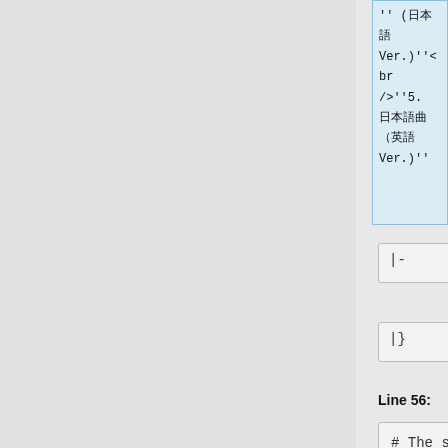'' (日本語 Ver.)''<br />''5. 日本語曲 (英語 Ver.)''
|-
|-
|}
|}
Line 56:
Line 63:
# The second example uses a slash (/) to separate multiple songs which are a single track in the
# The second example uses a slash (/) to separate multiple songs which are a single track in the